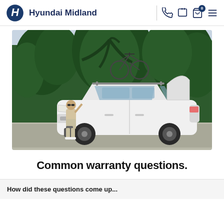Hyundai Midland
[Figure (photo): A white Hyundai Tucson SUV with a bicycle mounted on the roof rack, parked on a road surrounded by lush green tropical vegetation. A person in shorts and a light top stands beside the open rear hatch of the vehicle, appearing to be loading or unloading luggage.]
Common warranty questions.
How did these questions come up...